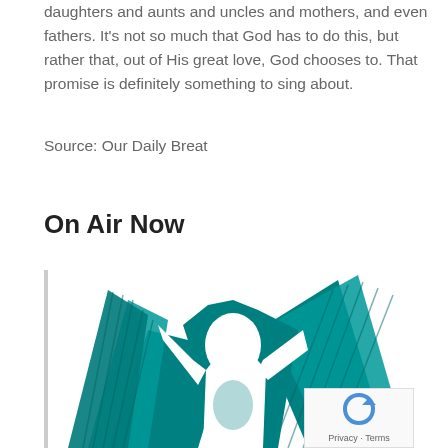daughters and aunts and uncles and mothers, and even fathers. It's not so much that God has to do this, but rather that, out of His great love, God chooses to. That promise is definitely something to sing about.
Source: Our Daily Breat
On Air Now
[Figure (illustration): Teal/turquoise illustration of an angel figure with large wings raised, silhouette style with white figure against teal background, alongside a reCAPTCHA widget in the bottom right corner.]